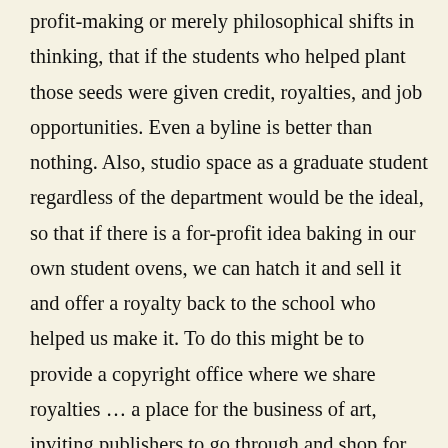profit-making or merely philosophical shifts in thinking, that if the students who helped plant those seeds were given credit, royalties, and job opportunities. Even a byline is better than nothing. Also, studio space as a graduate student regardless of the department would be the ideal, so that if there is a for-profit idea baking in our own student ovens, we can hatch it and sell it and offer a royalty back to the school who helped us make it. To do this might be to provide a copyright office where we share royalties ... a place for the business of art, inviting publishers to go through and shop for our wares to monetize, with an attorney to answer IP questions, boiler-plate IP contracts, etc. ... which would be a good idea anyways so students learn about this as a component of the real world- classes on the litigious aspects of delivering projects, where indemnification is required. Then we would be inspired to cogitate,